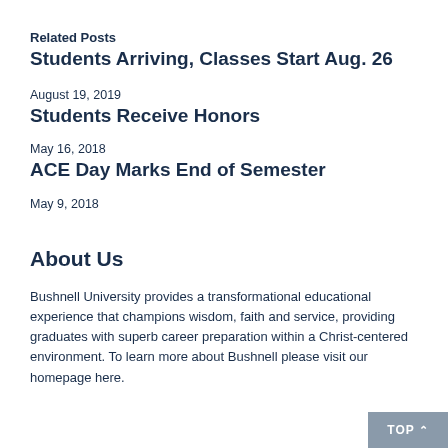Related Posts
Students Arriving, Classes Start Aug. 26
August 19, 2019
Students Receive Honors
May 16, 2018
ACE Day Marks End of Semester
May 9, 2018
About Us
Bushnell University provides a transformational educational experience that champions wisdom, faith and service, providing graduates with superb career preparation within a Christ-centered environment. To learn more about Bushnell please visit our homepage here.